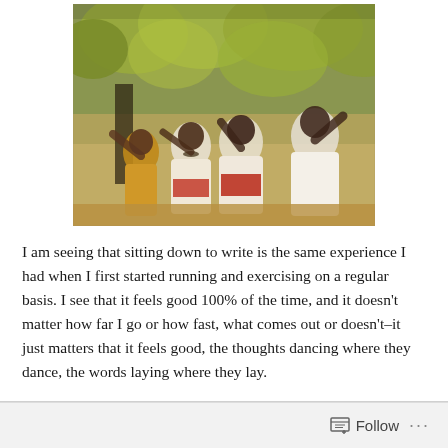[Figure (photo): A photograph showing a group of people dancing or celebrating outdoors, wearing colorful traditional clothing (red, white, orange). Green trees and foliage visible in the background.]
I am seeing that sitting down to write is the same experience I had when I first started running and exercising on a regular basis. I see that it feels good 100% of the time, and it doesn't matter how far I go or how fast, what comes out or doesn't–it just matters that it feels good, the thoughts dancing where they dance, the words laying where they lay.